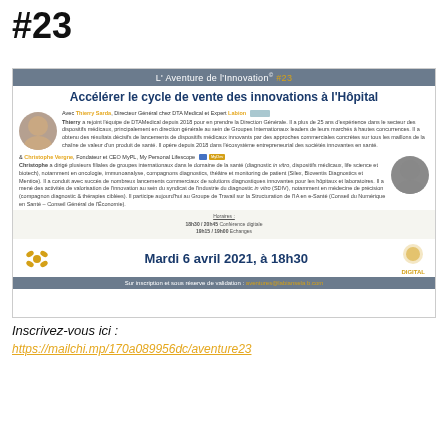#23
[Figure (infographic): Event flyer for 'L'Aventure de l'Innovation #23' about 'Accélérer le cycle de vente des innovations à l'Hôpital', featuring Thierry Sarda (Directeur Général chez DTA Medical et Expert Labion) and Christophe Vergne (Fondateur et CEO MyPL, My Personal Lifescope), scheduled Mardi 6 avril 2021 à 18h30, digital format.]
Inscrivez-vous ici :
https://mailchi.mp/170a089956dc/aventure23
[Figure (screenshot): YouTube video thumbnail showing 'Aventure de l'Innovation #23' with two participants visible on screen.]